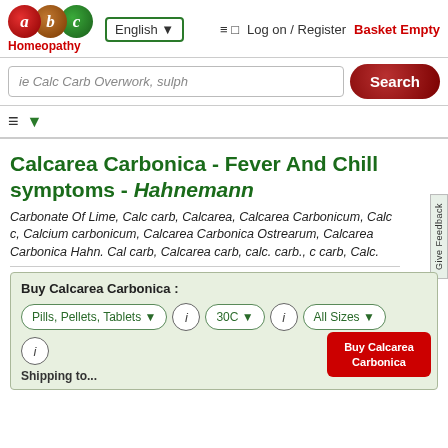≡ □  Log on / Register  Basket Empty
[Figure (logo): abc Homeopathy logo with three colored circles (red a, brown b, green c) and red text 'Homeopathy']
English ▼
ie Calc Carb Overwork, sulph
Search
Calcarea Carbonica - Fever And Chill symptoms - Hahnemann
Carbonate Of Lime, Calc carb, Calcarea, Calcarea Carbonicum, Calc c, Calcium carbonicum, Calcarea Carbonica Ostrearum, Calcarea Carbonica Hahn. Cal carb, Calcarea carb, calc. carb., c carb, Calc.
Buy Calcarea Carbonica :
Pills, Pellets, Tablets ▼
30C ▼
All Sizes ▼
Buy Calcarea Carbonica
Shipping to...